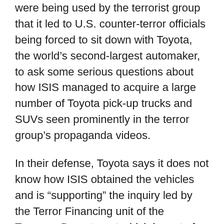were being used by the terrorist group that it led to U.S. counter-terror officials being forced to sit down with Toyota, the world's second-largest automaker, to ask some serious questions about how ISIS managed to acquire a large number of Toyota pick-up trucks and SUVs seen prominently in the terror group's propaganda videos.
In their defense, Toyota says it does not know how ISIS obtained the vehicles and is “supporting” the inquiry led by the Terror Financing unit of the Treasury Department which is part of a broad U.S. effort to prevent Western-made goods from ending up in the hands of the terror group. Largely the trucks are supplied through third-party middlemen supplying the trucks to the Middle East or are simply looted from showrooms across the captured territory.